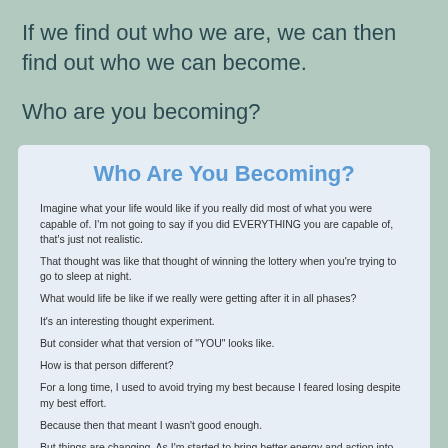If we find out who we are, we can then find out who we can become.
Who are you becoming?
Who Are You Becoming?
Imagine what your life would like if you really did most of what you were capable of. I'm not going to say if you did EVERYTHING you are capable of, that's just not realistic.
That thought was like that thought of winning the lottery when you're trying to go to sleep at night.
What would life be like if we really were getting after it in all phases?
It's an interesting thought experiment.
But consider what that version of "YOU" looks like.
How is that person different?
For a long time, I used to avoid trying my best because I feared losing despite my best effort.
Because then that meant I wasn't good enough.
But things are changing. As I'm started to bring better energy and action into more and more phases of life, my feedback loops are improving.
And here is the weird kicker.
I'm finding out that coming up short despite good effort doesn't actually make me feel